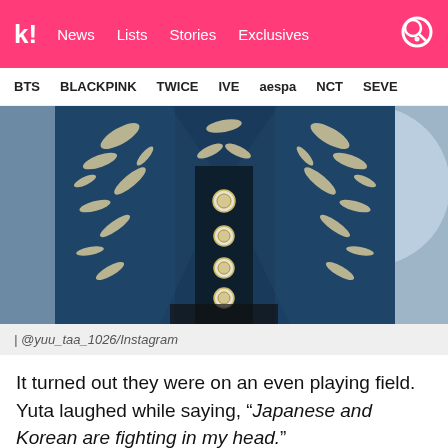k! News Lists Stories Exclusives
BTS BLACKPINK TWICE IVE aespa NCT SEVE
[Figure (photo): Person wearing a navy blue jacket with intricate white floral/leaf embroidery and silver/pearl buttons, photographed from the chest down, standing in front of a blue and white background.]
| @yuu_taa_1026/Instagram
It turned out they were on an even playing field. Yuta laughed while saying, “Japanese and Korean are fighting in my head.”